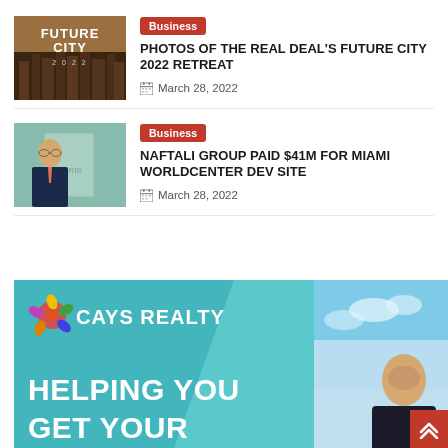[Figure (photo): Future City 2022 thumbnail image - dark brownish illustration with FUTURE CITY text overlay]
Business | PHOTOS OF THE REAL DEAL'S FUTURE CITY 2022 RETREAT | March 28, 2022
[Figure (photo): Portrait of a man in a suit against a colorful background]
Business | NAFTALI GROUP PAID $41M FOR MIAMI WORLDCENTER DEV SITE | March 28, 2022
[Figure (illustration): Cays Realty advertisement banner with teal background, dragonfly/flower logo, CAYS REALTY text, and HELPING YOU GET YOUR headline with a woman's photo]